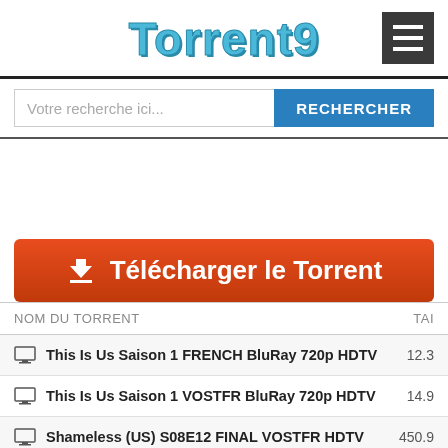Torrent9
[Figure (screenshot): Hamburger menu button (three horizontal lines) in dark grey square]
Votre recherche ici...
RECHERCHER
⬇ Télécharger le Torrent
| NOM DU TORRENT | TAI |
| --- | --- |
| This Is Us Saison 1 FRENCH BluRay 720p HDTV | 12.3 |
| This Is Us Saison 1 VOSTFR BluRay 720p HDTV | 14.9 |
| Shameless (US) S08E12 FINAL VOSTFR HDTV | 450.9 |
| One of US Saison 1 FRENCH BluRay 720p HDTV | 3.0 |